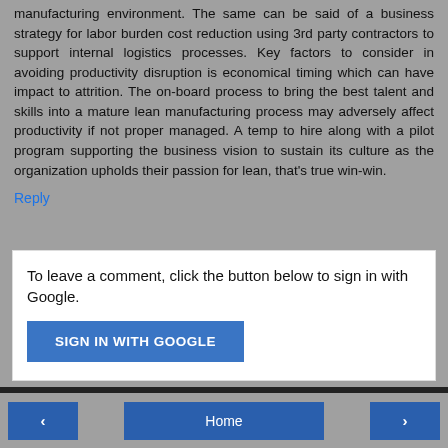manufacturing environment. The same can be said of a business strategy for labor burden cost reduction using 3rd party contractors to support internal logistics processes. Key factors to consider in avoiding productivity disruption is economical timing which can have impact to attrition. The on-board process to bring the best talent and skills into a mature lean manufacturing process may adversely affect productivity if not proper managed. A temp to hire along with a pilot program supporting the business vision to sustain its culture as the organization upholds their passion for lean, that's true win-win.
Reply
To leave a comment, click the button below to sign in with Google.
SIGN IN WITH GOOGLE
< Home >